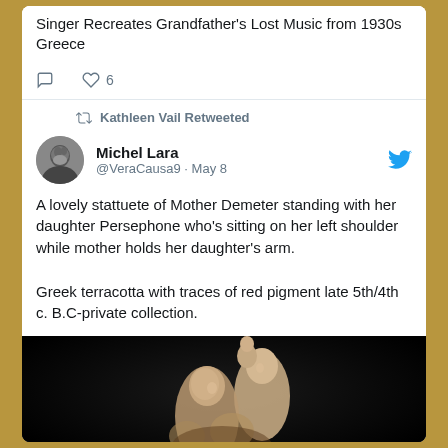Singer Recreates Grandfather's Lost Music from 1930s Greece
6 likes
Kathleen Vail Retweeted
Michel Lara @VeraCausa9 · May 8
A lovely stattuete of Mother Demeter standing with her daughter Persephone who's sitting on her left shoulder while mother holds her daughter's arm.

Greek terracotta with traces of red pigment late 5th/4th c. B.C-private collection.
[Figure (photo): Photo of a Greek terracotta statuette of Mother Demeter standing with daughter Persephone sitting on her shoulder, shown against a black background.]